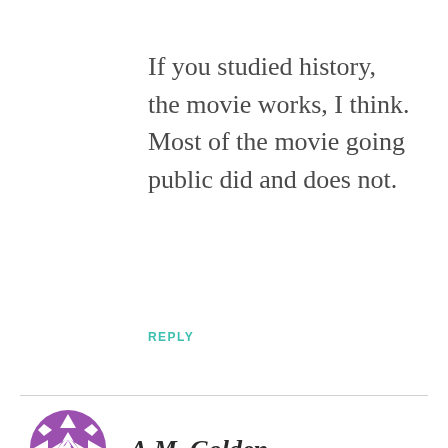If you studied history, the movie works, I think. Most of the movie going public did and does not.
REPLY
[Figure (logo): Purple geometric diamond/floral pattern circular logo for A.M. Golden]
A.M. Golden